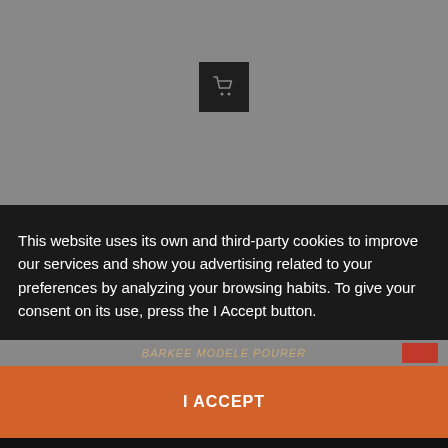[Figure (screenshot): Gray blurred background image with a dark shopping cart icon button in the center]
This website uses its own and third-party cookies to improve our services and show you advertising related to your preferences by analyzing your browsing habits. To give your consent on its use, press the I Accept button.
More information
customize cookies
BARKEE MODELE POURER
I ACCEPT